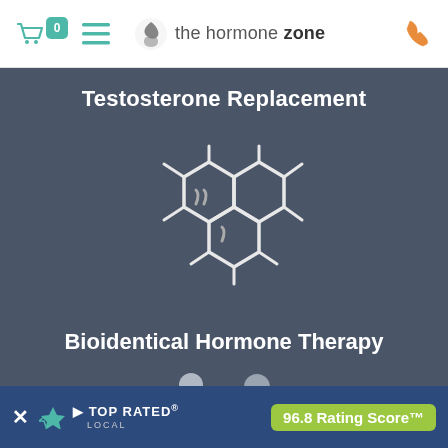the hormone zone
Testosterone Replacement
[Figure (illustration): White outline molecular/chemical structure icon on dark blue-grey background, representing a steroid hormone molecule]
Bioidentical Hormone Therapy
[Figure (illustration): Grey silhouette icons of two adults and a child, representing family or patients]
TOP RATED LOCAL — 96.8 Rating Score™